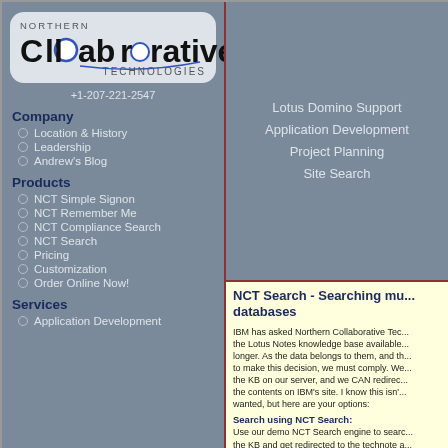[Figure (logo): Northern Collaborative Technologies logo with stylized text and circular O motif]
+1-207-221-2547
Lotus Domino Support
Application Development
Project Planning
Site Search
Company
Location & History
Leadership
Andrew's Blog
Products
NCT Simple Signon
NCT Remember Me
NCT Compliance Search
NCT Search
Pricing
Customization
Order Online Now!
Services
Application Development
NCT Search - Searching mu... databases
IBM has asked Northern Collaborative Tec... the Lotus Notes knowledge base available... longer. As the data belongs to them, and th... to make this decision, we must comply. We... the KB on our server, and we CAN redirec... the contents on IBM's site. I know this isn'... wanted, but here are your options:
Search using NCT Search:
Use our demo NCT Search engine to searc... the KB and get redirected to the technote a... IBM's website. Click here to try this solution.
Look for this document at IBM:
You can try searching at IBM (good luck)...